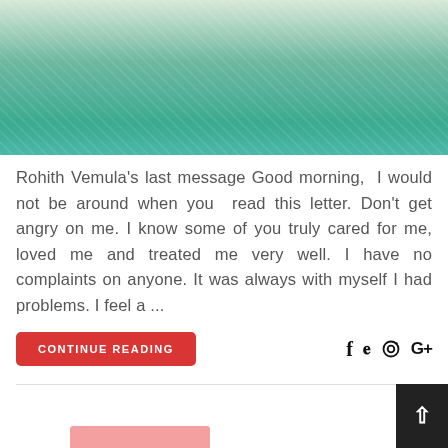[Figure (photo): Photo of a person wearing a green checked shirt, upper body visible, sitting with hands clasped.]
Rohith Vemula's last message Good morning, I would not be around when you read this letter. Don't get angry on me. I know some of you truly cared for me, loved me and treated me very well. I have no complaints on anyone. It was always with myself I had problems. I feel a ...
CONTINUE READING